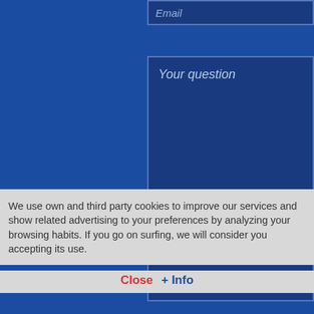Email
Your question
[Figure (screenshot): reCAPTCHA widget with checkbox labeled 'No soy un robot' and reCAPTCHA logo with 'Privacidad - Términos']
We use own and third party cookies to improve our services and show related advertising to your preferences by analyzing your browsing habits. If you go on surfing, we will consider you accepting its use.
Close  + Info